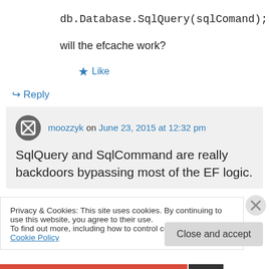db.Database.SqlQuery(sqlComand);
will the efcache work?
★ Like
↪ Reply
moozzyk on June 23, 2015 at 12:32 pm
SqlQuery and SqlCommand are really backdoors bypassing most of the EF logic.
Privacy & Cookies: This site uses cookies. By continuing to use this website, you agree to their use.
To find out more, including how to control cookies, see here: Cookie Policy
Close and accept